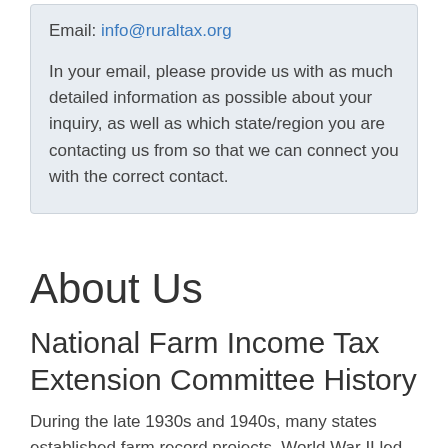Email: info@ruraltax.org
In your email, please provide us with as much detailed information as possible about your inquiry, as well as which state/region you are contacting us from so that we can connect you with the correct contact.
About Us
National Farm Income Tax Extension Committee History
During the late 1930s and 1940s, many states established farm record projects. World War II led to increases in federal income tax. The need to understand and take appropriate action to governmental laws and